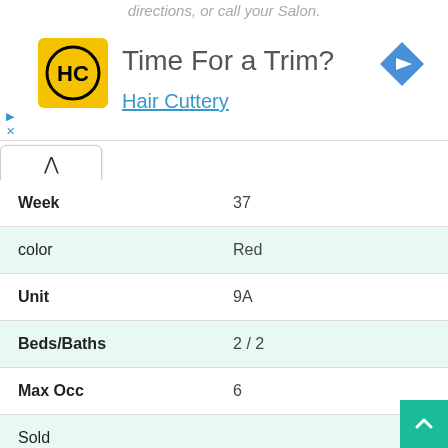[Figure (screenshot): Hair Cuttery advertisement banner with yellow logo, 'Time For a Trim?' heading, and 'Hair Cuttery' link]
| Week | 37 |
| color | Red |
| Unit | 9A |
| Beds/Baths | 2 / 2 |
| Max Occ | 6 |
| Sold |  |
| - |  |